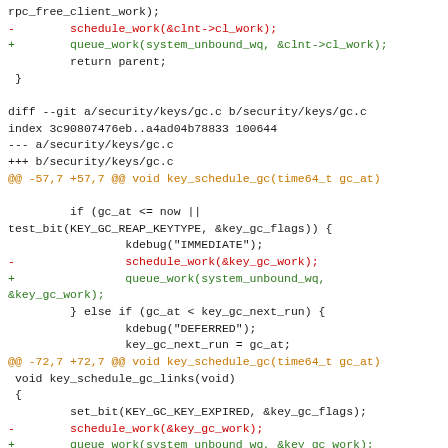rpc_free_client_work);
-        schedule_work(&clnt->cl_work);
+        queue_work(system_unbound_wq, &clnt->cl_work);
         return parent;
 }

diff --git a/security/keys/gc.c b/security/keys/gc.c
index 3c90807476eb..a4ad04b78833 100644
--- a/security/keys/gc.c
+++ b/security/keys/gc.c
@@ -57,7 +57,7 @@ void key_schedule_gc(time64_t gc_at)

         if (gc_at <= now ||
test_bit(KEY_GC_REAP_KEYTYPE, &key_gc_flags)) {
                 kdebug("IMMEDIATE");
-                schedule_work(&key_gc_work);
+                queue_work(system_unbound_wq,
&key_gc_work);
         } else if (gc_at < key_gc_next_run) {
                 kdebug("DEFERRED");
                 key_gc_next_run = gc_at;
@@ -72,7 +72,7 @@ void key_schedule_gc(time64_t gc_at)
 void key_schedule_gc_links(void)
 {
         set_bit(KEY_GC_KEY_EXPIRED, &key_gc_flags);
-        schedule_work(&key_gc_work);
+        queue_work(system_unbound_wq, &key_gc_work);
 }

 /*
@@ -106,7 +106,7 @@ void key_gc_keytype(struct key_type